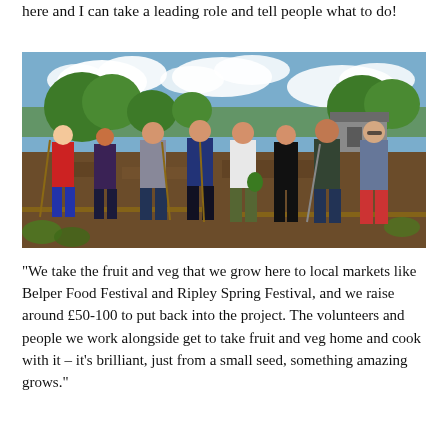here and I can take a leading role and tell people what to do!
[Figure (photo): Group of approximately nine young adults standing together in a community allotment garden on a sunny day, some holding shovels and gardening tools, with vegetable beds, trees, and a shed visible in the background.]
"We take the fruit and veg that we grow here to local markets like Belper Food Festival and Ripley Spring Festival, and we raise around £50-100 to put back into the project. The volunteers and people we work alongside get to take fruit and veg home and cook with it – it's brilliant, just from a small seed, something amazing grows."